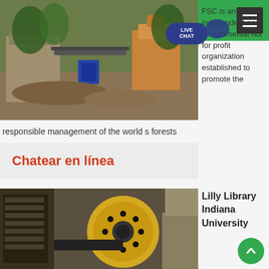GBM
[Figure (photo): Industrial mining/crushing equipment in an outdoor setting with excavator and crusher machinery]
FSC is an independent non governmental not for profit organization established to promote the responsible management of the world s forests
Chatear en línea
[Figure (photo): Yellow and black industrial jaw crusher machinery]
Lilly Library Indiana University